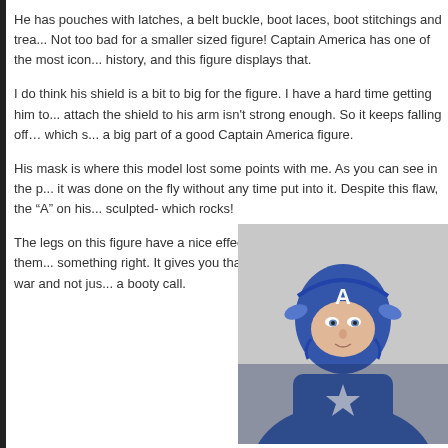He has pouches with latches, a belt buckle, boot laces, boot stitchings and trea... Not too bad for a smaller sized figure! Captain America has one of the most icon... history, and this figure displays that.
I do think his shield is a bit to big for the figure. I have a hard time getting him to... attach the shield to his arm isn't strong enough. So it keeps falling off… which s... a big part of a good Captain America figure.
His mask is where this model lost some points with me. As you can see in the p... it was done on the fly without any time put into it. Despite this flaw, the "A" on his... sculpted- which rocks!
The legs on this figure have a nice effect, as they have a dark wash across them... something right. It gives you that real feel like Cap has been in a war and not jus... a booty call.
[Figure (photo): Close-up photo of a Captain America action figure wearing a blue mask/helmet with the iconic 'A' on the forehead, partially visible in the bottom-right corner of the page.]